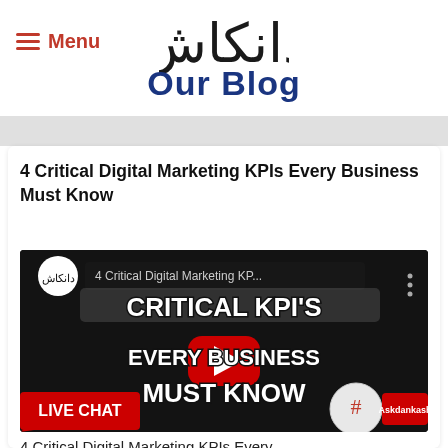Menu
[Figure (logo): Dankash Urdu logo in stylized Arabic script]
Our Blog
4 Critical Digital Marketing KPIs Every Business Must Know
[Figure (screenshot): YouTube video thumbnail: '4 Critical Digital Marketing KPIs Every Business Must Know' featuring a man in blue shirt with text CRITICAL KPI's Every Business Must Know, LIVE CHAT button, Askdankash hashtag badge, and YouTube play button]
4 Critical Digital Marketing KPIs Every